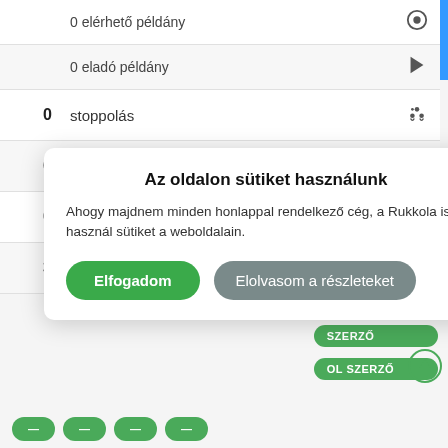| 0 elérhető példány |  |
| 0 eladó példány |  |
| 0 | stoppolás |  |
| 6 | kívánságlistán |  |
| 0 | folyamatban lévő rukk / happ |  |
| 3 | lezárult rukk / happ |  |
Címkék
[Figure (screenshot): Cookie consent modal dialog with 'Elfogadom' and 'Elolvasom a részleteket' buttons]
MADAPTÁCIÓ SZEREPLŐ SZERZŐ OL SZERZŐ